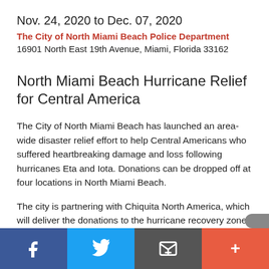Nov. 24, 2020 to Dec. 07, 2020
The City of North Miami Beach Police Department 16901 North East 19th Avenue, Miami, Florida 33162
North Miami Beach Hurricane Relief for Central America
The City of North Miami Beach has launched an area-wide disaster relief effort to help Central Americans who suffered heartbreaking damage and loss following hurricanes Eta and Iota. Donations can be dropped off at four locations in North Miami Beach.
The city is partnering with Chiquita North America, which will deliver the donations to the hurricane recovery zone.
Below is a list of items and locations where you can